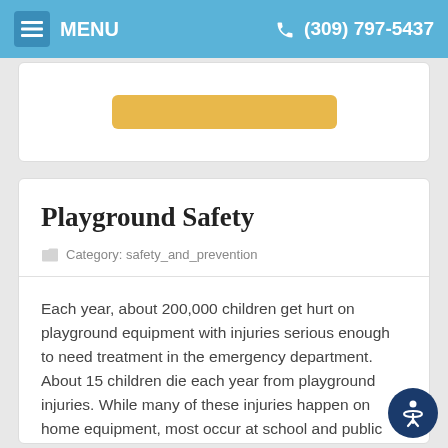MENU  (309) 797-5437
Playground Safety
Category: safety_and_prevention
Each year, about 200,000 children get hurt on playground equipment with injuries serious enough to need treatment in the emergency department. About 15 children die each year from playground injuries. While many of these injuries happen on home equipment, most occur at school and public playgrounds.
READ MORE